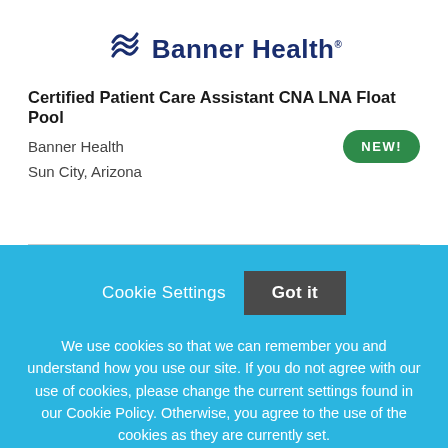[Figure (logo): Banner Health logo with wave icon and company name in dark navy blue]
Certified Patient Care Assistant CNA LNA Float Pool
Banner Health
Sun City, Arizona
NEW!
Cookie Settings
Got it
We use cookies so that we can remember you and understand how you use our site. If you do not agree with our use of cookies, please change the current settings found in our Cookie Policy. Otherwise, you agree to the use of the cookies as they are currently set.